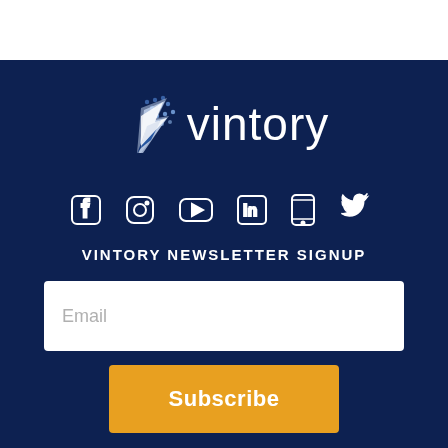[Figure (logo): Vintory logo with stylized arrow/flag icon in blue and white dots, followed by the word 'vintory' in white sans-serif text on dark navy background]
[Figure (infographic): Row of social media icons: Facebook, Instagram, YouTube, LinkedIn, an app icon, and Twitter (bird), all in white outline style on navy background]
VINTORY NEWSLETTER SIGNUP
Email
Subscribe